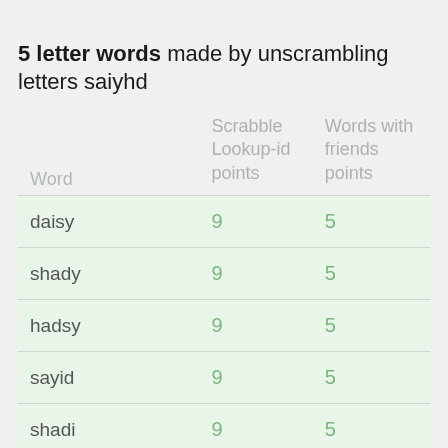5 letter words made by unscrambling letters saiyhd
| Word | Scrabble Lookup-id points | Words with friends points |
| --- | --- | --- |
| daisy | 9 | 5 |
| shady | 9 | 5 |
| hadsy | 9 | 5 |
| sayid | 9 | 5 |
| shadi | 9 | 5 |
| dashi | 9 | 5 |